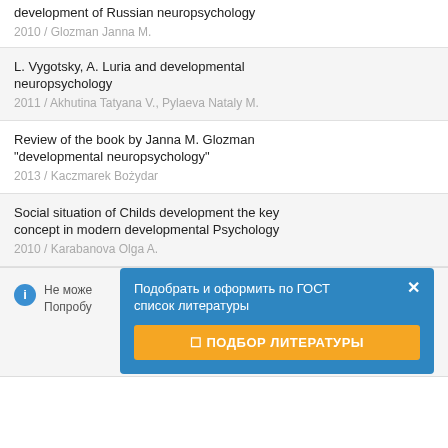development of Russian neuropsychology
2010 / Glozman Janna M.
L. Vygotsky, A. Luria and developmental neuropsychology
2011 / Akhutina Tatyana V., Pylaeva Nataly M.
Review of the book by Janna M. Glozman "developmental neuropsychology"
2013 / Kaczmarek Bożydar
Social situation of Childs development the key concept in modern developmental Psychology
2010 / Karabanova Olga A.
Не може... Попробу...
Подобрать и оформить по ГОСТ список литературы
☐ ПОДБОР ЛИТЕРАТУРЫ